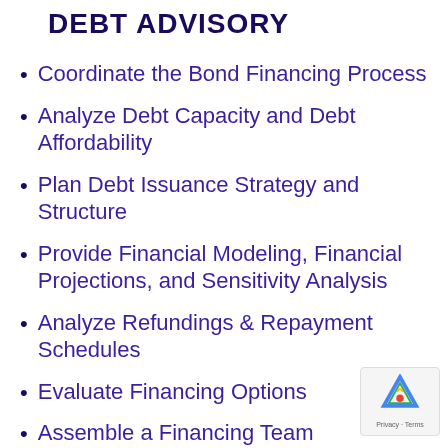DEBT ADVISORY
Coordinate the Bond Financing Process
Analyze Debt Capacity and Debt Affordability
Plan Debt Issuance Strategy and Structure
Provide Financial Modeling, Financial Projections, and Sensitivity Analysis
Analyze Refundings & Repayment Schedules
Evaluate Financing Options
Assemble a Financing Team